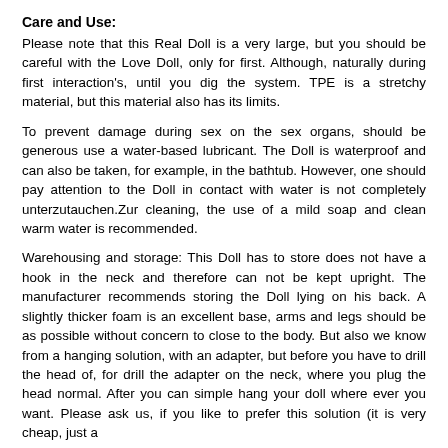Care and Use:
Please note that this Real Doll is a very large, but you should be careful with the Love Doll, only for first. Although, naturally during first interaction's, until you dig the system. TPE is a stretchy material, but this material also has its limits.
To prevent damage during sex on the sex organs, should be generous use a water-based lubricant. The Doll is waterproof and can also be taken, for example, in the bathtub. However, one should pay attention to the Doll in contact with water is not completely unterzutauchen.Zur cleaning, the use of a mild soap and clean warm water is recommended.
Warehousing and storage: This Doll has to store does not have a hook in the neck and therefore can not be kept upright. The manufacturer recommends storing the Doll lying on his back. A slightly thicker foam is an excellent base, arms and legs should be as possible without concern to close to the body. But also we know from a hanging solution, with an adapter, but before you have to drill the head of, for drill the adapter on the neck, where you plug the head normal. After you can simple hang your doll where ever you want. Please ask us, if you like to prefer this solution (it is very cheap, just a small bracket, ties, rings…?